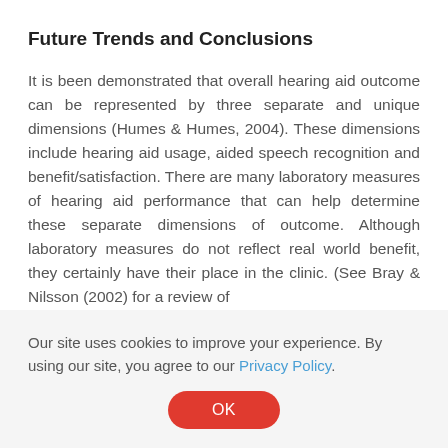Future Trends and Conclusions
It is been demonstrated that overall hearing aid outcome can be represented by three separate and unique dimensions (Humes & Humes, 2004). These dimensions include hearing aid usage, aided speech recognition and benefit/satisfaction. There are many laboratory measures of hearing aid performance that can help determine these separate dimensions of outcome. Although laboratory measures do not reflect real world benefit, they certainly have their place in the clinic. (See Bray & Nilsson (2002) for a review of
Our site uses cookies to improve your experience. By using our site, you agree to our Privacy Policy.